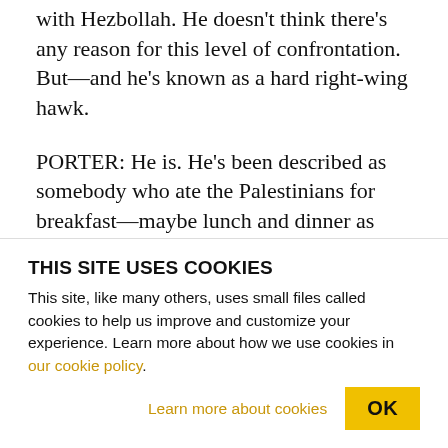with Hezbollah. He doesn't think there's any reason for this level of confrontation. Butâ€"and he's known as a hard right-wing hawk.
PORTER: He is. He's been described as somebody who ate the Palestinians for breakfastâ€"maybe lunch and dinner as well. So you're right. I mean, he is a hardliner, and yet he is saying Israel, the Israeli government of Netanyahu has got this all wrong. It's too bad that the Obama administration is not listening more to Meir Dagan and taking that very
THIS SITE USES COOKIES
This site, like many others, uses small files called cookies to help us improve and customize your experience. Learn more about how we use cookies in our cookie policy.
Learn more about cookies
OK